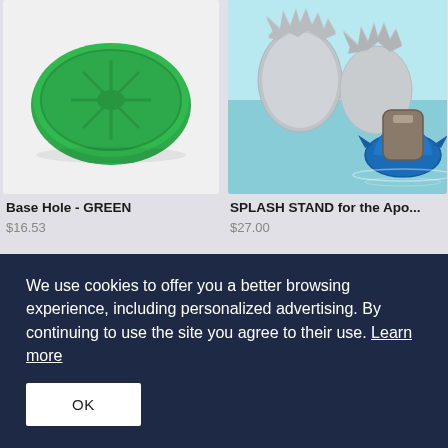[Figure (photo): Green disc/base hole product on white background]
Base Hole - GREEN
$16.53
[Figure (photo): Splash Stand for Apollo - metallic splash/water landing themed product with blue splash on water background]
SPLASH STAND for the Apo...
$27.00
[Figure (photo): Blue books/folders product on light background]
[Figure (photo): GP X Stand II - GoPro universal holder/mount product]
We use cookies to offer you a better browsing experience, including personalized advertising. By continuing to use the site you agree to their use. Learn more
OK